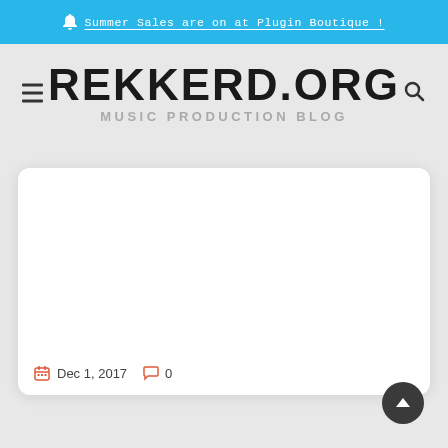🔔 Summer Sales are on at Plugin Boutique!
REKKERD.ORG
MUSIC PRODUCTION BLOG
[Figure (screenshot): White card area with blank image placeholder]
Dec 1, 2017  0